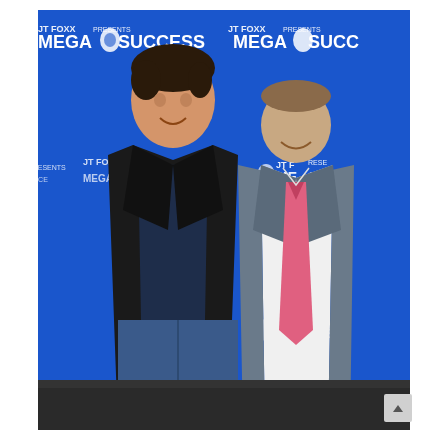[Figure (photo): Two men posing together at a JT Foxx Presents Mega Success event. On the left stands a taller man with dark hair wearing a black jacket over a navy t-shirt and blue jeans. On the right stands a shorter man in a grey suit with a white shirt and pink tie. Behind them is a blue branded step-and-repeat backdrop reading 'JT FOXX PRESENTS MEGA SUCCESS' with a lion logo repeated across it.]